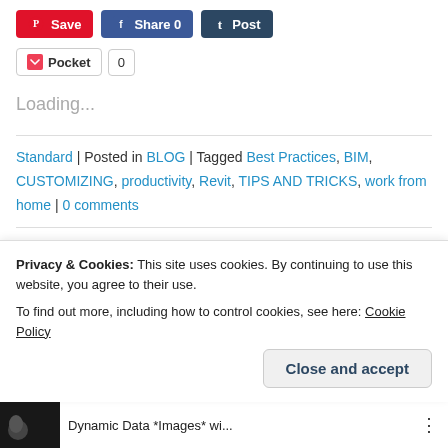[Figure (screenshot): Social share buttons row: Pinterest Save (red), Facebook Share 0 (blue), Tumblr Post (dark blue)]
[Figure (screenshot): Pocket save button with count 0]
Loading...
Standard | Posted in BLOG | Tagged Best Practices, BIM, CUSTOMIZING, productivity, Revit, TIPS AND TRICKS, work from home | 0 comments
DYNAMIC DATA *IMAGES* WITH
Privacy & Cookies: This site uses cookies. By continuing to use this website, you agree to their use.
To find out more, including how to control cookies, see here: Cookie Policy
[Figure (screenshot): Close and accept button for cookie banner]
[Figure (screenshot): Thumbnail bar at bottom: small dark image thumbnail and text 'Dynamic Data *Images* wi...']